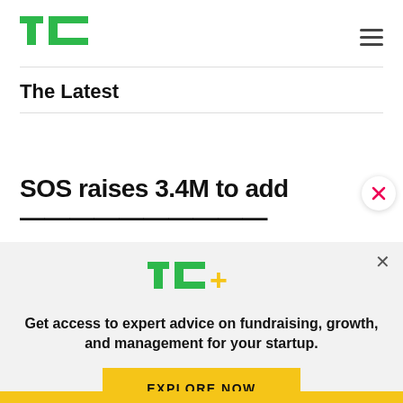TechCrunch logo and navigation menu
The Latest
SOS raises 3.4M to add
[Figure (screenshot): TechCrunch+ paywall subscription banner with TC+ logo, text 'Get access to expert advice on fundraising, growth, and management for your startup.' and 'EXPLORE NOW' yellow button]